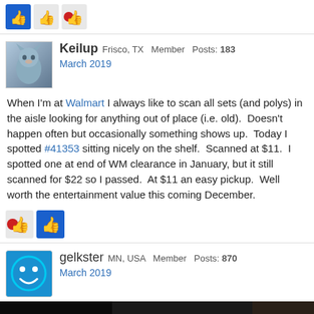[Figure (other): Three reaction/like icons in a row at the top of the post]
Keilup   Frisco, TX   Member   Posts: 183
March 2019
When I'm at Walmart I always like to scan all sets (and polys) in the aisle looking for anything out of place (i.e. old).  Doesn't happen often but occasionally something shows up.  Today I spotted #41353 sitting nicely on the shelf.  Scanned at $11.  I spotted one at end of WM clearance in January, but it still scanned for $22 so I passed.  At $11 an easy pickup.  Well worth the entertainment value this coming December.
[Figure (other): Two small reaction/like icons below the post body]
gelkster   MN, USA   Member   Posts: 870
March 2019
[Figure (photo): Dark photo showing LEGO Technic box/packaging on a shelf]